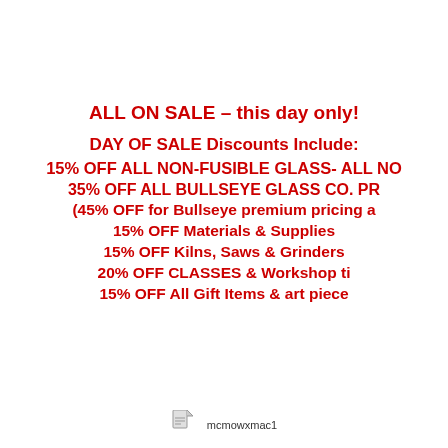ALL ON SALE – this day only!
DAY OF SALE Discounts Include:
15% OFF ALL NON-FUSIBLE GLASS- ALL NO
35% OFF ALL BULLSEYE GLASS CO. PR
(45% OFF for Bullseye premium pricing a
15% OFF Materials & Supplies
15% OFF Kilns, Saws & Grinders
20% OFF CLASSES & Workshop ti
15% OFF All Gift Items & art piece
mcmowxmac1